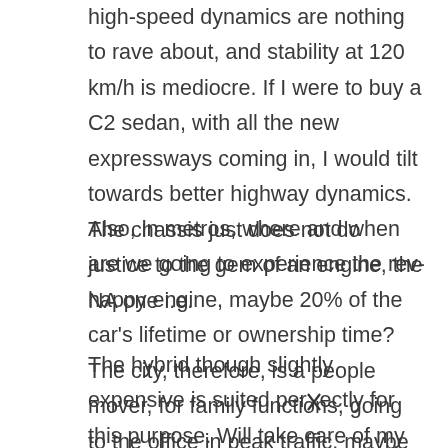high-speed dynamics are nothing to rave about, and stability at 120 km/h is mediocre. If I were to buy a C2 sedan, with all the new expressways coming in, I would tilt towards better highway dynamics. The chassis just does not do justice to the gem of an engine, the NA one i.e.
Also, in metros, where and when are we going to experience the rev-happy engine, maybe 20% of the car's lifetime or ownership time? The city, therefore, is a people mover, for family functions, going to the office in peak traffic, maybe to the market etc.
The hybrid though slightly expensive is suited perfectly for this purpose. Will take care of my pocket in terms of consumption in stop-go traffic over the long term, while giving me 90% of the NA performance if and when needed.